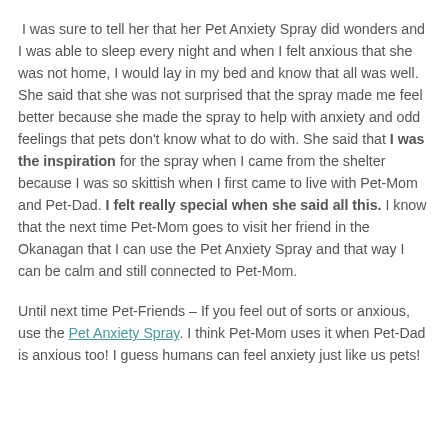I was sure to tell her that her Pet Anxiety Spray did wonders and I was able to sleep every night and when I felt anxious that she was not home, I would lay in my bed and know that all was well. She said that she was not surprised that the spray made me feel better because she made the spray to help with anxiety and odd feelings that pets don't know what to do with. She said that I was the inspiration for the spray when I came from the shelter because I was so skittish when I first came to live with Pet-Mom and Pet-Dad. I felt really special when she said all this. I know that the next time Pet-Mom goes to visit her friend in the Okanagan that I can use the Pet Anxiety Spray and that way I can be calm and still connected to Pet-Mom.
Until next time Pet-Friends – If you feel out of sorts or anxious, use the Pet Anxiety Spray. I think Pet-Mom uses it when Pet-Dad is anxious too! I guess humans can feel anxiety just like us pets!